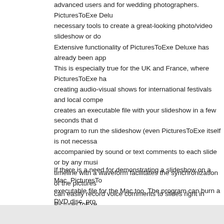advanced users and for wedding photographers. PicturesToExe Deluxe necessary tools to create a great-looking photo/video slideshow or do...
Extensive functionality of PicturesToExe Deluxe has already been app... This is especially true for the UK and France, where PicturesToExe ha... creating audio-visual shows for international festivals and local compe... creates an executable file with your slideshow in a few seconds that d... program to run the slideshow (even PicturesToExe itself is not necessa... accompanied by sound or text comments to each slide or by any musi... timeline with a waveform facilitates the synchronization of the pictures... can easily record voice comments to slides right in PicturesToExe.
If there is a need for demonstrating a slideshow on a Mac, PicturesTo... executable file for the Mac too. The program can burn a DVD disc, pro... iPhone and iPad. Publish slideshows on YouTube and Facebook.
For Download this Software please Like our page on Facebook an...